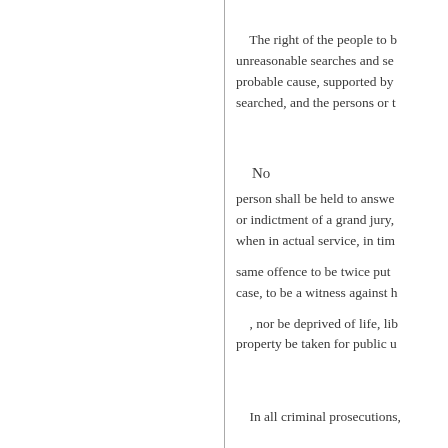The right of the people to be secure in their persons, houses, papers, and effects, against unreasonable searches and seizures, shall not be violated, and no Warrants shall issue, but upon probable cause, supported by Oath or affirmation, and particularly describing the place to be searched, and the persons or things to be seized.
No person shall be held to answer for a capital, or otherwise infamous crime, unless on a presentment or indictment of a grand jury, except in cases arising in the land or naval forces, or in the Militia, when in actual service, in time of War or public danger;
nor shall any person be subject for the same offence to be twice put in jeopardy of life or limb; nor shall be compelled in any criminal case, to be a witness against himself,
, nor be deprived of life, liberty, or property, without due process of law; nor shall private property be taken for public use, without just compensation.
In all criminal prosecutions, the accused shall enjoy the right to a speedy and public trial,